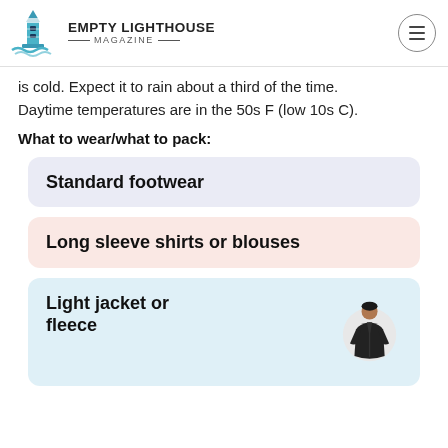EMPTY LIGHTHOUSE MAGAZINE
is cold. Expect it to rain about a third of the time. Daytime temperatures are in the 50s F (low 10s C).
What to wear/what to pack:
Standard footwear
Long sleeve shirts or blouses
Light jacket or fleece